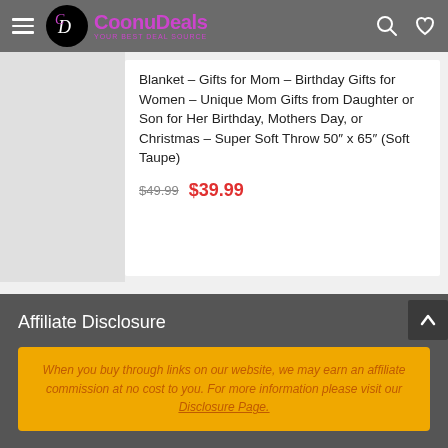CoonuDeals — YOUR BEST DEAL SOURCE
Blanket – Gifts for Mom – Birthday Gifts for Women – Unique Mom Gifts from Daughter or Son for Her Birthday, Mothers Day, or Christmas – Super Soft Throw 50″ x 65″ (Soft Taupe)
$49.99  $39.99
Affiliate Disclosure
When you buy through links on our website, we may earn an affiliate commission at no cost to you. For more information please visit our Disclosure Page.